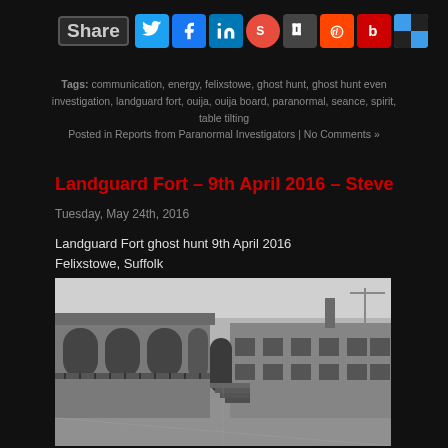[Figure (infographic): Social share bar with icons for Twitter, Facebook, LinkedIn, StumbleUpon, Digg, Reddit, Beats, and Delicious]
Tags: communication, energy, felixstowe, ghost hunt, ghost hunt event, investigation, landguard fort, ouija, ouija board, paranormal, seance, spirit, table tilting
Posted in Reports from Paranormal Investigators | No Comments »
Landguard Fort – 9th April 2016 – Steve
Tuesday, May 24th, 2016
Landguard Fort ghost hunt 9th April 2016
Felixstowe, Suffolk
[Figure (photo): Black and white photograph of Landguard Fort interior courtyard showing stone arches, buildings, and staircase]